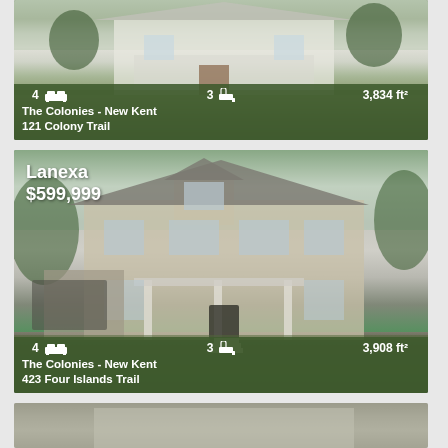[Figure (photo): Listing card 1: exterior photo of a house at 121 Colony Trail, The Colonies - New Kent. White colonial-style house with large lawn. Info bar shows 4 beds, 3 baths, 3,834 ft².]
[Figure (photo): Listing card 2: exterior photo of a large two-story brick house in Lanexa, listed at $599,999, address 423 Four Islands Trail, The Colonies - New Kent. Info bar shows 4 beds, 3 baths, 3,908 ft².]
[Figure (photo): Listing card 3 (partially visible at bottom): third property listing, partially cut off.]